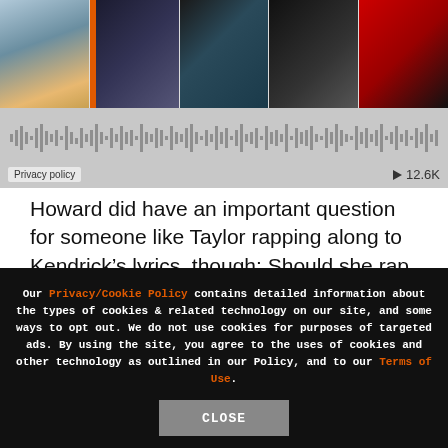[Figure (screenshot): Horizontal strip of 5 thumbnail photos at top of page, second one has orange bar on left side]
[Figure (screenshot): Audio player bar with waveform, Privacy policy label on left, play button and 12.6K count on right]
Howard did have an important question for someone like Taylor rapping along to Kendrick’s lyrics, though: Should she rap the N-word?
“She should mumble it to herself. That’s the edit. She got to make her personal edit,” Lamar said with a laugh.
Our Privacy/Cookie Policy contains detailed information about the types of cookies & related technology on our site, and some ways to opt out. We do not use cookies for purposes of targeted ads. By using the site, you agree to the uses of cookies and other technology as outlined in our Policy, and to our Terms of Use.
Close